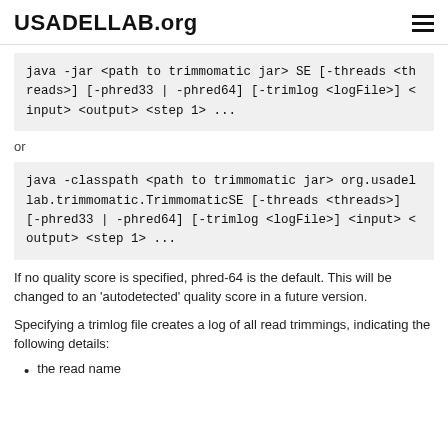USADELLAB.org
java -jar <path to trimmomatic jar> SE [-threads <threads>] [-phred33 | -phred64] [-trimlog <logFile>] <input> <output> <step 1> ...
or
java -classpath <path to trimmomatic jar> org.usadellab.trimmomatic.TrimmomaticSE [-threads <threads>] [-phred33 | -phred64] [-trimlog <logFile>] <input> <output> <step 1> ...
If no quality score is specified, phred-64 is the default. This will be changed to an 'autodetected' quality score in a future version.
Specifying a trimlog file creates a log of all read trimmings, indicating the following details:
the read name